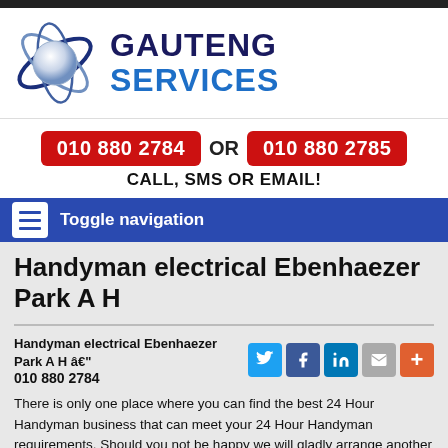[Figure (logo): Gauteng Services logo with globe/orbit graphic and text GAUTENG SERVICES]
010 880 2784 OR 010 880 2785 CALL, SMS OR EMAIL!
Toggle navigation
Handyman electrical Ebenhaezer Park A H
Handyman electrical Ebenhaezer Park A H â€" 010 880 2784
There is only one place where you can find the best 24 Hour Handyman business that can meet your 24 Hour Handyman requirements. Should you not be happy we will gladly arrange another company to quote you accordingly.